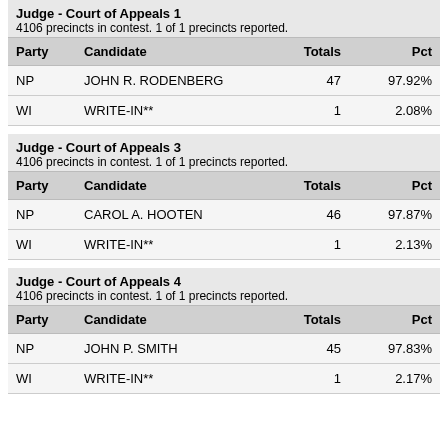Judge - Court of Appeals 1
4106 precincts in contest. 1 of 1 precincts reported.
| Party | Candidate | Totals | Pct |
| --- | --- | --- | --- |
| NP | JOHN R. RODENBERG | 47 | 97.92% |
| WI | WRITE-IN** | 1 | 2.08% |
Judge - Court of Appeals 3
4106 precincts in contest. 1 of 1 precincts reported.
| Party | Candidate | Totals | Pct |
| --- | --- | --- | --- |
| NP | CAROL A. HOOTEN | 46 | 97.87% |
| WI | WRITE-IN** | 1 | 2.13% |
Judge - Court of Appeals 4
4106 precincts in contest. 1 of 1 precincts reported.
| Party | Candidate | Totals | Pct |
| --- | --- | --- | --- |
| NP | JOHN P. SMITH | 45 | 97.83% |
| WI | WRITE-IN** | 1 | 2.17% |